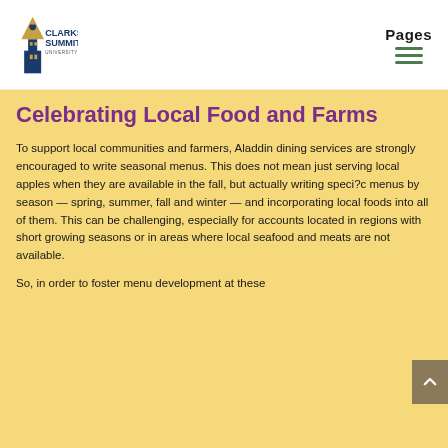[Figure (logo): Clarks Summit University logo with tower/lighthouse icon in gold, blue, and white, with text 'CLARKS SUMMIT UNIVERSITY']
Pages
Celebrating Local Food and Farms
To support local communities and farmers, Aladdin dining services are strongly encouraged to write seasonal menus. This does not mean just serving local apples when they are available in the fall, but actually writing speci?c menus by season — spring, summer, fall and winter — and incorporating local foods into all of them. This can be challenging, especially for accounts located in regions with short growing seasons or in areas where local seafood and meats are not available.
So, in order to foster menu development at these